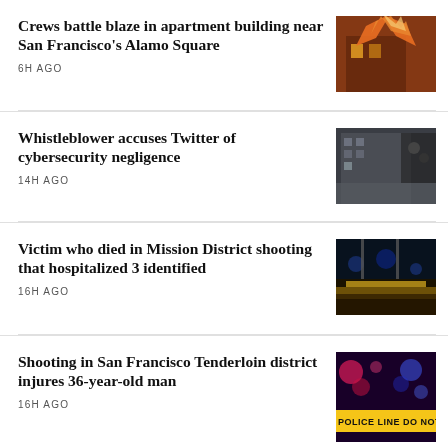Crews battle blaze in apartment building near San Francisco's Alamo Square
6H AGO
[Figure (photo): Building on fire with orange flames and smoke]
Whistleblower accuses Twitter of cybersecurity negligence
14H AGO
[Figure (photo): Twitter office building exterior at night]
Victim who died in Mission District shooting that hospitalized 3 identified
16H AGO
[Figure (photo): Night crime scene with police tape and blue lights]
Shooting in San Francisco Tenderloin district injures 36-year-old man
16H AGO
[Figure (photo): Police line do not cross tape with flashing red and blue lights]